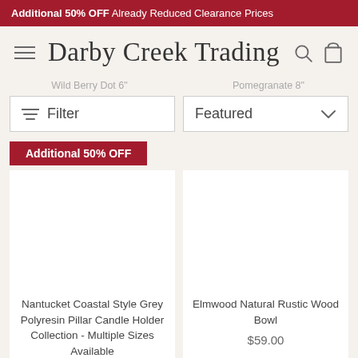Additional 50% OFF Already Reduced Clearance Prices   Additional 50%
Darby Creek Trading
Wild Berry Dot 6"   Pomegranate 8"
Filter   Featured
Additional 50% OFF
Nantucket Coastal Style Grey Polyresin Pillar Candle Holder Collection - Multiple Sizes Available
Elmwood Natural Rustic Wood Bowl
$59.00